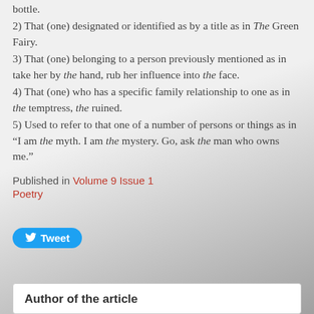bottle.
2) That (one) designated or identified as by a title as in The Green Fairy.
3) That (one) belonging to a person previously mentioned as in take her by the hand, rub her influence into the face.
4) That (one) who has a specific family relationship to one as in the temptress, the ruined.
5) Used to refer to that one of a number of persons or things as in “I am the myth. I am the mystery. Go, ask the man who owns me.”
Published in Volume 9 Issue 1
Poetry
[Figure (other): Tweet button with Twitter bird icon]
Author of the article